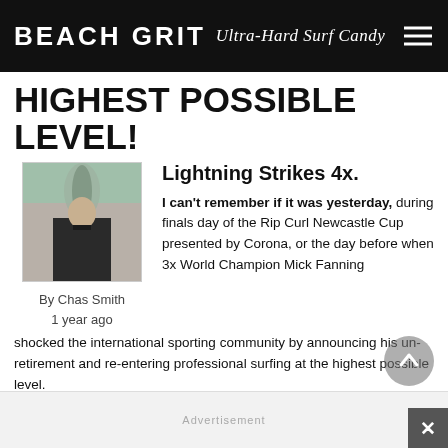BEACH GRIT Ultra-Hard Surf Candy
HIGHEST POSSIBLE LEVEL!
[Figure (photo): Author photo of Chas Smith standing outdoors with palm trees in background]
By Chas Smith
1 year ago
Lightning Strikes 4x.
I can't remember if it was yesterday, during finals day of the Rip Curl Newcastle Cup presented by Corona, or the day before when 3x World Champion Mick Fanning shocked the international sporting community by announcing his un-retirement and re-entering professional surfing at the highest possible level.
Advertisement